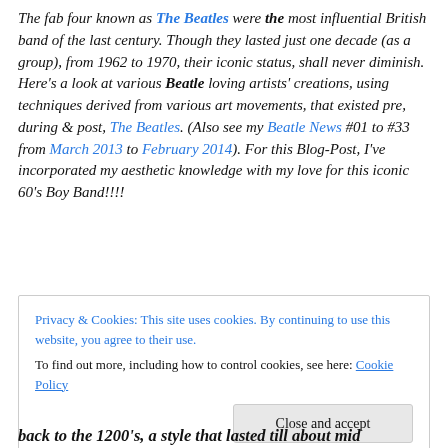The fab four known as The Beatles were the most influential British band of the last century. Though they lasted just one decade (as a group), from 1962 to 1970, their iconic status, shall never diminish. Here's a look at various Beatle loving artists' creations, using techniques derived from various art movements, that existed pre, during & post, The Beatles. (Also see my Beatle News #01 to #33 from March 2013 to February 2014). For this Blog-Post, I've incorporated my aesthetic knowledge with my love for this iconic 60's Boy Band!!!!
Privacy & Cookies: This site uses cookies. By continuing to use this website, you agree to their use. To find out more, including how to control cookies, see here: Cookie Policy
Close and accept
back to the 1200's, a style that lasted till about mid